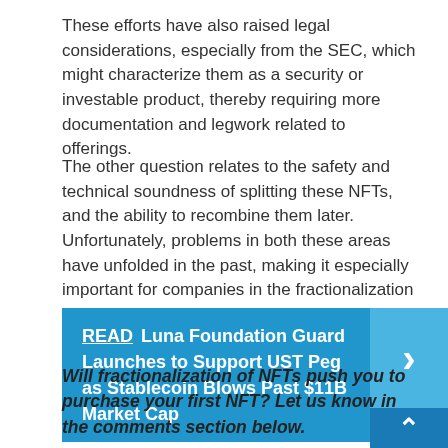These efforts have also raised legal considerations, especially from the SEC, which might characterize them as a security or investable product, thereby requiring more documentation and legwork related to offerings.
The other question relates to the safety and technical soundness of splitting these NFTs, and the ability to recombine them later. Unfortunately, problems in both these areas have unfolded in the past, making it especially important for companies in the fractionalization space to address the issues and explain how their technologies overcome these pitfalls.
READ  Luna Foundation Guard Launches to Support UST Peg as Stablecoin Blows Past $11B Market Cap
Will fractionalization of NFTs push you to purchase your first NFT? Let us know in the comments section below.